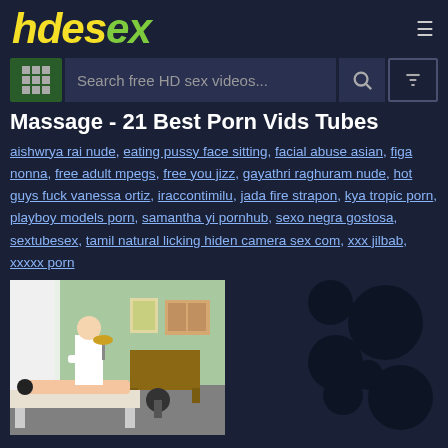hdesex
Massage - 21 Best Porn Vids Tubes
aishwrya rai nude, eating pussy face sitting, facial abuse asian, figa nonna, free adult mpegs, free you jizz, gayathri raghuram nude, hot guys fuck vanessa ortiz, iraccontimilu, jada fire strapon, kya tropic porn, playboy models porn, samantha yi pornhub, sexo negra gostosa, sextubesex, tamil natural licking hiden camera sex com, xxx jilbab, xxxxx porn
[Figure (screenshot): Thumbnail of a massage video showing a person receiving a massage in a medical room setting]